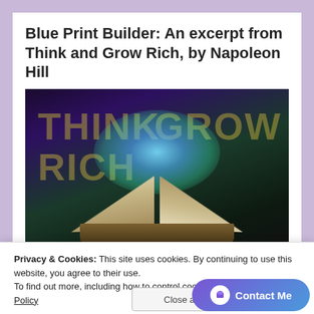Blue Print Builder: An excerpt from Think and Grow Rich, by Napoleon Hill
[Figure (photo): Open glowing book with magical light erupting from pages, overlaid with large text THINK GROW RICH in gold/dark olive color on a dark purple-green background]
Privacy & Cookies: This site uses cookies. By continuing to use this website, you agree to their use.
To find out more, including how to control cookies, see here: Cookie Policy
toward its attainment, and I here and now